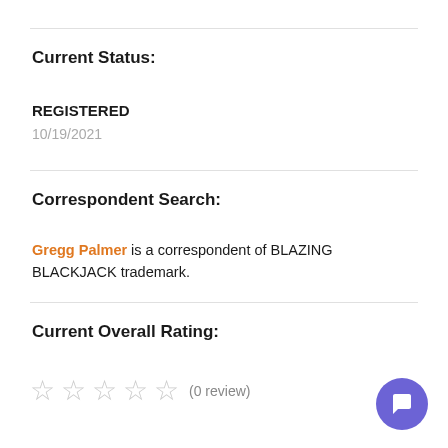Current Status:
REGISTERED
10/19/2021
Correspondent Search:
Gregg Palmer is a correspondent of BLAZING BLACKJACK trademark.
Current Overall Rating:
☆ ☆ ☆ ☆ ☆ (0 review)